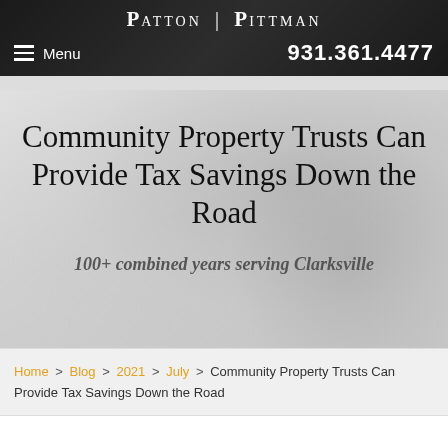Patton | Pittman  Menu  931.361.4477
Community Property Trusts Can Provide Tax Savings Down the Road
100+ combined years serving Clarksville
Home > Blog > 2021 > July > Community Property Trusts Can Provide Tax Savings Down the Road